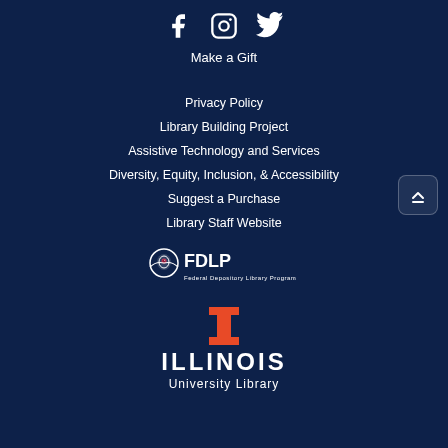[Figure (illustration): Social media icons: Facebook, Instagram, Twitter in white]
Make a Gift
Privacy Policy
Library Building Project
Assistive Technology and Services
Diversity, Equity, Inclusion, & Accessibility
Suggest a Purchase
Library Staff Website
[Figure (logo): FDLP Federal Depository Library Program logo in white]
[Figure (logo): University of Illinois University Library logo: orange I, ILLINOIS, University Library in white]